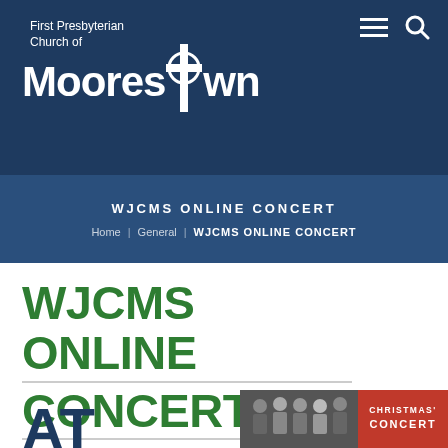First Presbyterian Church of Moorestown — logo and navigation header
WJCMS ONLINE CONCERT
Home | General | WJCMS ONLINE CONCERT
WJCMS ONLINE CONCERT
AT
[Figure (photo): Photo collage showing choir performers on the left and a red Christmas Concert banner on the right]